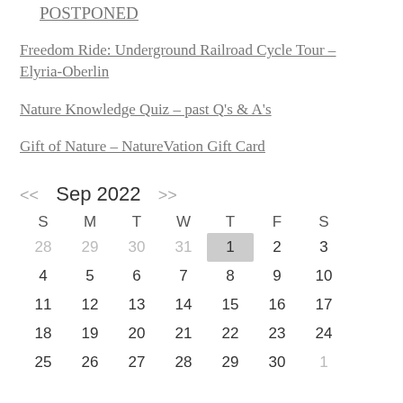POSTPONED
Freedom Ride: Underground Railroad Cycle Tour – Elyria-Oberlin
Nature Knowledge Quiz – past Q's & A's
Gift of Nature – NatureVation Gift Card
| S | M | T | W | T | F | S |
| --- | --- | --- | --- | --- | --- | --- |
| 28 | 29 | 30 | 31 | 1 | 2 | 3 |
| 4 | 5 | 6 | 7 | 8 | 9 | 10 |
| 11 | 12 | 13 | 14 | 15 | 16 | 17 |
| 18 | 19 | 20 | 21 | 22 | 23 | 24 |
| 25 | 26 | 27 | 28 | 29 | 30 | 1 |